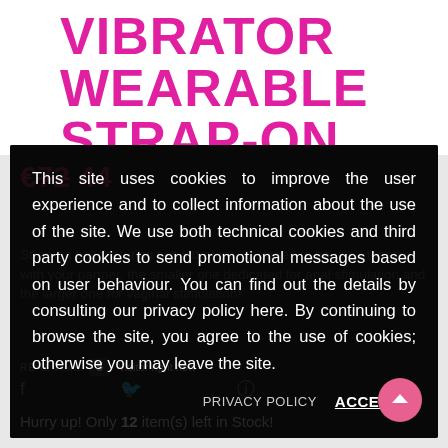VIBRATOR WEARABLE STRAP-ON DUO
This site uses cookies to improve the user experience and to collect information about the use of the site. We use both technical cookies and third party cookies to send promotional messages based on user behaviour. You can find out the details by consulting our privacy policy here. By continuing to browse the site, you agree to the use of cookies; otherwise you may leave the site.
PRIVACY POLICY
ACCEPT
REAL TIME  5  Visitor right now
Hurry up! Only 12 item(s) left in Stock!